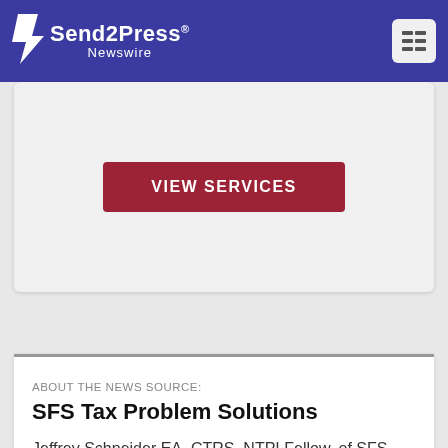Send2Press Newswire
[Figure (screenshot): VIEW SERVICES button (dark red/maroon) on light gray card background]
ABOUT THE NEWS SOURCE:
SFS Tax Problem Solutions
Jeffrey Schneider EA, CTRS, NTPI Fellow, of SFS Tax Problem Solutions, has the knowledge and expertise to help you reach a favorable outcome